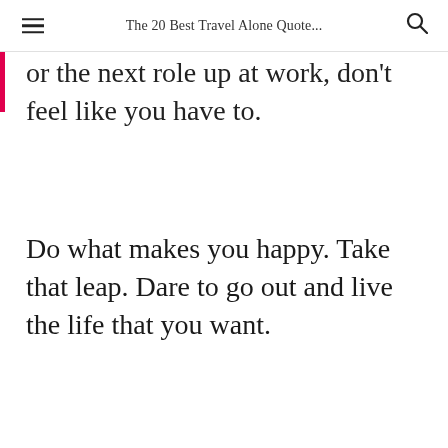The 20 Best Travel Alone Quote...
or the next role up at work, don't feel like you have to.
Do what makes you happy. Take that leap. Dare to go out and live the life that you want.